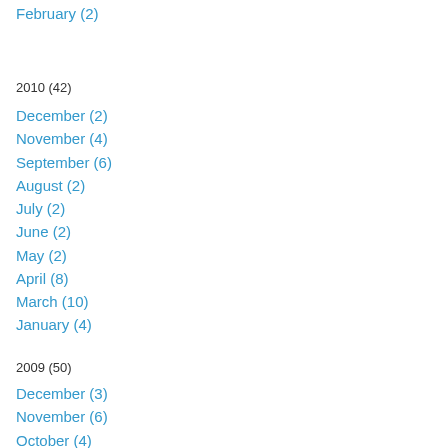February (2)
2010 (42)
December (2)
November (4)
September (6)
August (2)
July (2)
June (2)
May (2)
April (8)
March (10)
January (4)
2009 (50)
December (3)
November (6)
October (4)
September (4)
August (4)